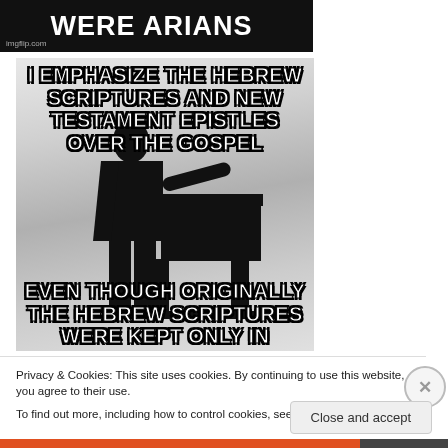[Figure (illustration): Top meme partial banner: dark background with 'imgflip.com' watermark and bold white text 'WERE ARIANS']
[Figure (illustration): Meme image with silhouette of a preacher at a pulpit. Top text: 'I EMPHASIZE THE HEBREW SCRIPTURES AND NEW TESTAMENT EPISTLES OVER THE GOSPEL'. Bottom text (partial): 'EVEN THOUGH ORIGINALLY THE HEBREW SCRIPTURES WERE KEPT ONLY IN']
Privacy & Cookies: This site uses cookies. By continuing to use this website, you agree to their use.
To find out more, including how to control cookies, see here: Cookie Policy
Close and accept